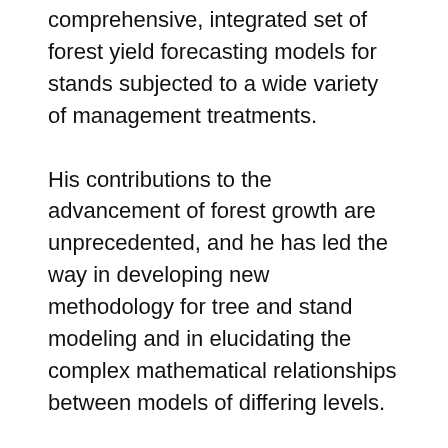comprehensive, integrated set of forest yield forecasting models for stands subjected to a wide variety of management treatments.
His contributions to the advancement of forest growth are unprecedented, and he has led the way in developing new methodology for tree and stand modeling and in elucidating the complex mathematical relationships between models of differing levels.
Burkhart has been a faculty member in the Department of Forest Resources and